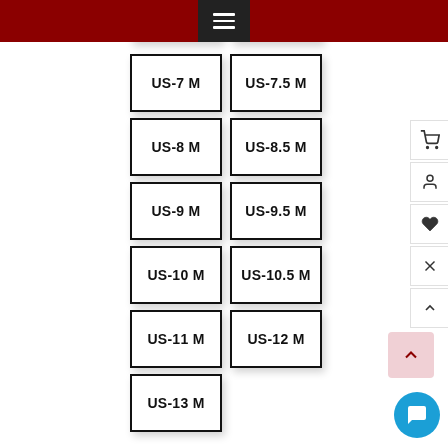[Figure (screenshot): E-commerce shoe size selector UI showing a dark red header bar with a hamburger menu button, and a grid of size option buttons: US-7 M, US-7.5 M, US-8 M, US-8.5 M, US-9 M, US-9.5 M, US-10 M, US-10.5 M, US-11 M, US-12 M, US-13 M. Right sidebar has cart, user, heart, scissors/compare, and chevron icons. Bottom right has scroll-to-top and chat bubble buttons.]